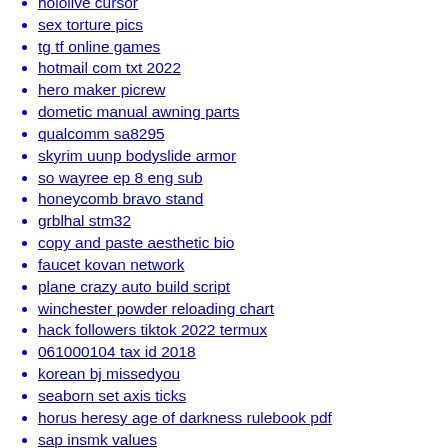hololive cursor
sex torture pics
tg tf online games
hotmail com txt 2022
hero maker picrew
dometic manual awning parts
qualcomm sa8295
skyrim uunp bodyslide armor
so wayree ep 8 eng sub
honeycomb bravo stand
grblhal stm32
copy and paste aesthetic bio
faucet kovan network
plane crazy auto build script
winchester powder reloading chart
hack followers tiktok 2022 termux
061000104 tax id 2018
korean bj missedyou
seaborn set axis ticks
horus heresy age of darkness rulebook pdf
sap insmk values
scroller anime gifs
hg6245d admin password
bunnings star pickets 10 pack
download dell optiplex 3020 drivers